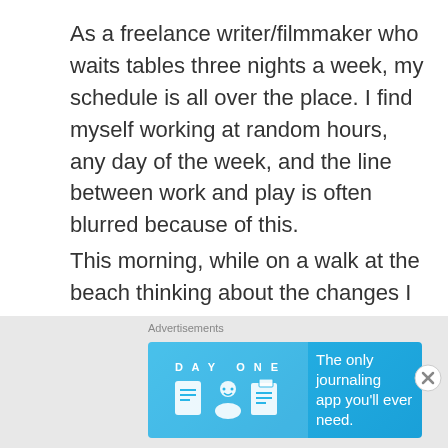As a freelance writer/filmmaker who waits tables three nights a week, my schedule is all over the place. I find myself working at random hours, any day of the week, and the line between work and play is often blurred because of this.
This morning, while on a walk at the beach thinking about the changes I want to make in my life and myself, it hit me like a ton of bricks.
I need more structure.
This minimal-schedule of mine that changes
Advertisements
[Figure (advertisement): DAY ONE app advertisement banner. Blue background. Left side shows DAY ONE logo with icons of a document, person, and notepad. Right side text: The only journaling app you'll ever need.]